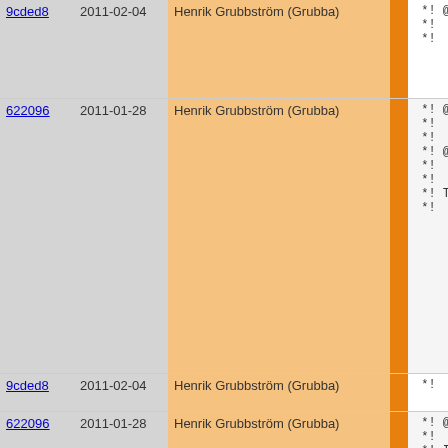| Hash | Date | Author |  | Code |
| --- | --- | --- | --- | --- |
| 9cded8 | 2011-02-04 | Henrik Grubbström (Grubba) |  | *! @param
*!   Val
*! |
| 622096 | 2011-01-28 | Henrik Grubbström (Grubba) |  | *! @param
*!   Var
*!
*! @param
*!   Type
*!
*! This t
*!   @cod |
| 9cded8 | 2011-02-04 | Henrik Grubbström (Grubba) |  | *!   se |
| 622096 | 2011-01-28 | Henrik Grubbström (Grubba) |  | *! @end
*!
*! It is
*!
*! @seea
*!   @[_s
*/ |
| 9cded8 | 2011-02-04 | Henrik Grubbström (Grubba) |  | PIKEFUN vo |
| 622096 | 2011-01-28 | Henrik Grubbström (Grubba) |  | flags ID |
| 9cded8 | 2011-02-04 | Henrik Grubbström (Grubba) |  | rawtype th |
| 622096 | 2011-01-28 | Henrik Grubbström (Grubba) |  | { |